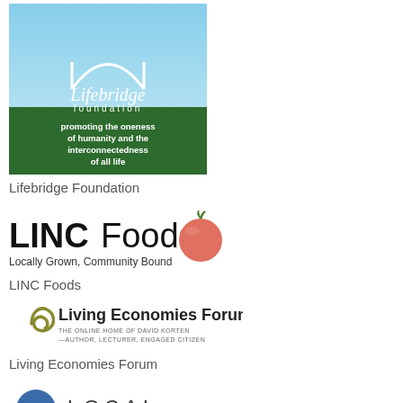[Figure (logo): Lifebridge Foundation logo: blue sky gradient top half with white arch/bridge graphic and 'Lifebridge foundation' text; green bottom half with white text 'promoting the oneness of humanity and the interconnectedness of all life']
Lifebridge Foundation
[Figure (logo): LINC Foods logo: bold black 'LINC Foods' text with an illustrated tomato icon; tagline 'Locally Grown, Community Bound']
LINC Foods
[Figure (logo): Living Economies Forum logo: olive/gold swirl icon beside bold text 'Living Economies Forum'; subtext 'THE ONLINE HOME OF DAVID KORTEN — AUTHOR, LECTURER, ENGAGED CITIZEN']
Living Economies Forum
[Figure (logo): Partial logo at bottom: circular image on left and 'LOCAL' text visible, cut off at bottom of page]